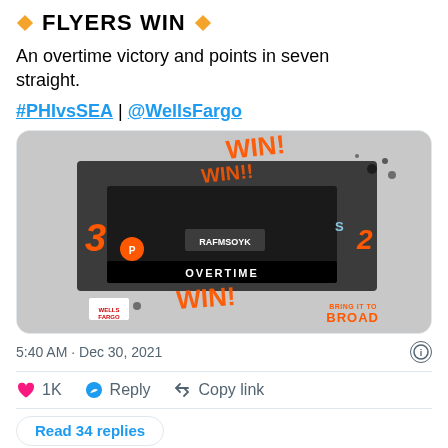🔶 FLYERS WIN 🔶
An overtime victory and points in seven straight.
#PHIvsSEA | @WellsFargo
[Figure (photo): Flyers win graphic showing hockey players celebrating, score 3-2 in overtime, with 'WIN!' text in orange, Wells Fargo and Bring It To Broad branding]
5:40 AM · Dec 30, 2021
1K   Reply   Copy link
Read 34 replies